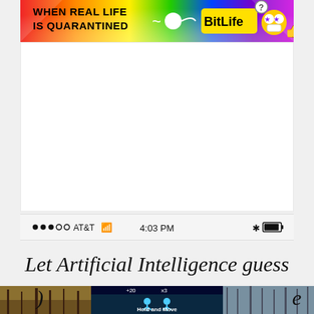[Figure (screenshot): BitLife advertisement banner with rainbow gradient background. Text reads 'WHEN REAL LIFE IS QUARANTINED' with BitLife logo and emoji icons (masked face, thumbs up, question mark).]
[Figure (screenshot): White empty content area (likely a loading/blank ad space)]
[Figure (screenshot): iOS status bar showing signal dots, AT&T carrier, WiFi icon, time 4:03 PM, Bluetooth icon, and battery indicator]
Let Artificial Intelligence guess
[Figure (screenshot): Partial view of mobile app screenshots overlapping the text - showing outdoor nature scenes and a game interface with 'Hold and Move' text and blue person icons, score overlay showing +20 and x3]